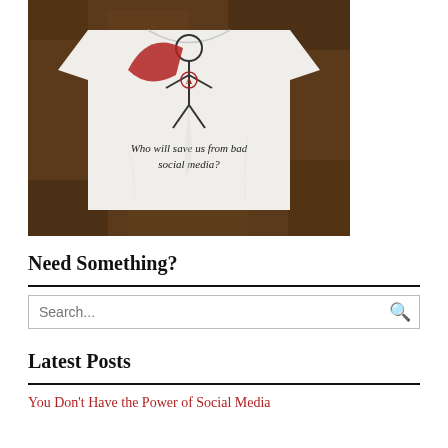[Figure (photo): Photo of a white t-shirt on a brown surface, featuring a hand-drawn superhero stick figure with a red cape and the text 'Who will save us from bad social media?']
Need Something?
Search...
Latest Posts
You Don't Have the Power of Social Media